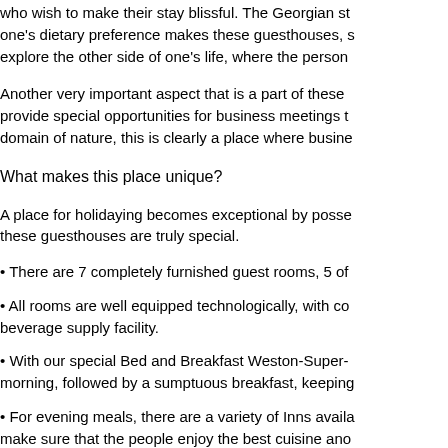who wish to make their stay blissful. The Georgian st one's dietary preference makes these guesthouses, s explore the other side of one's life, where the person
Another very important aspect that is a part of these provide special opportunities for business meetings t domain of nature, this is clearly a place where busine
What makes this place unique?
A place for holidaying becomes exceptional by posse these guesthouses are truly special.
• There are 7 completely furnished guest rooms, 5 of
• All rooms are well equipped technologically, with co beverage supply facility.
• With our special Bed and Breakfast Weston-Super- morning, followed by a sumptuous breakfast, keeping
• For evening meals, there are a variety of Inns availa make sure that the people enjoy the best cuisine ano
• In case of rooms, the tariffs range from £40/£75 for with an additional single room. The final price range c rooms.